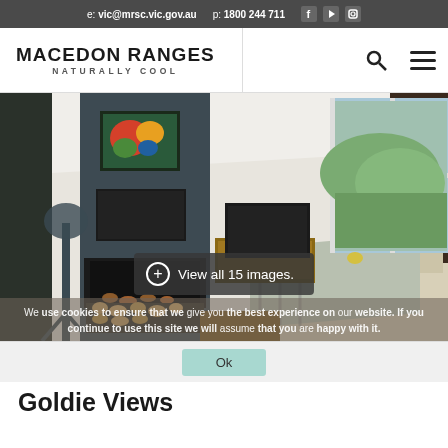e: vic@mrsc.vic.gov.au   p: 1800 244 711
MACEDON RANGES NATURALLY COOL
[Figure (photo): Interior photo of a modern living room with dark fireplace feature wall, colorful artwork, TV, and sliding glass doors to outdoor view. Part of a 15-image gallery.]
View all 15 images.
We use cookies to ensure that we give you the best experience on our website. If you continue to use this site we will assume that you are happy with it.
Ok
Goldie Views